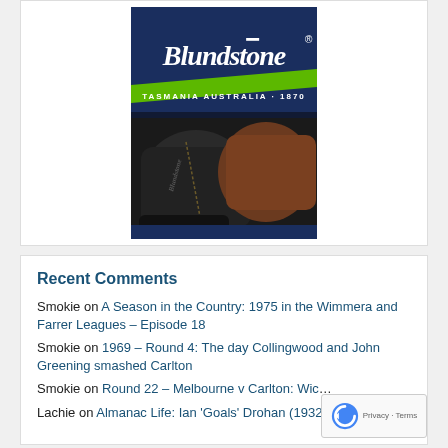[Figure (logo): Blundstone advertisement showing the Blundstone logo (white script text on dark navy background with green chevron/swoosh underneath) and the text 'TASMANIA AUSTRALIA · 1870', with a close-up photo of black and brown leather Chelsea boots below.]
Recent Comments
Smokie on A Season in the Country: 1975 in the Wimmera and Farrer Leagues – Episode 18
Smokie on 1969 – Round 4: The day Collingwood and John Greening smashed Carlton
Smokie on Round 22 – Melbourne v Carlton: Wicked Pickett B
Lachie on Almanac Life: Ian 'Goals' Drohan (1932- 2019)